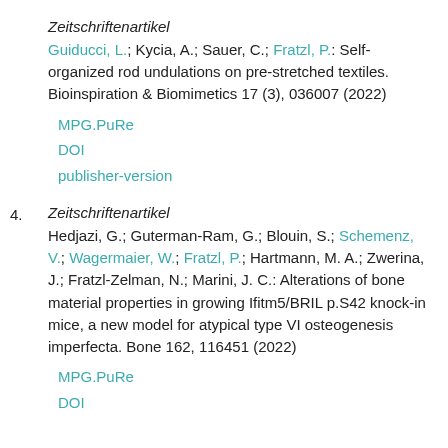Zeitschriftenartikel
Guiducci, L.; Kycia, A.; Sauer, C.; Fratzl, P.: Self-organized rod undulations on pre-stretched textiles. Bioinspiration & Biomimetics 17 (3), 036007 (2022)
MPG.PuRe
DOI
publisher-version
4.
Zeitschriftenartikel
Hedjazi, G.; Guterman-Ram, G.; Blouin, S.; Schemenz, V.; Wagermaier, W.; Fratzl, P.; Hartmann, M. A.; Zwerina, J.; Fratzl-Zelman, N.; Marini, J. C.: Alterations of bone material properties in growing Ifitm5/BRIL p.S42 knock-in mice, a new model for atypical type VI osteogenesis imperfecta. Bone 162, 116451 (2022)
MPG.PuRe
DOI